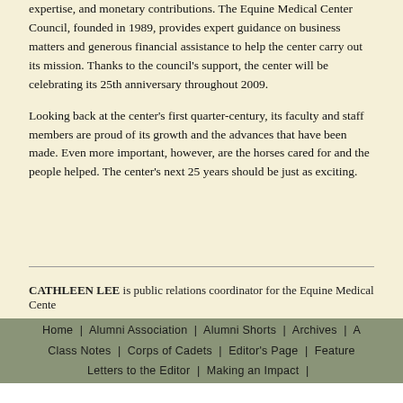expertise, and monetary contributions. The Equine Medical Center Council, founded in 1989, provides expert guidance on business matters and generous financial assistance to help the center carry out its mission. Thanks to the council's support, the center will be celebrating its 25th anniversary throughout 2009.
Looking back at the center's first quarter-century, its faculty and staff members are proud of its growth and the advances that have been made. Even more important, however, are the horses cared for and the people helped. The center's next 25 years should be just as exciting.
CATHLEEN LEE is public relations coordinator for the Equine Medical Cente…
Home | Alumni Association | Alumni Shorts | Archives | A… Class Notes | Corps of Cadets | Editor's Page | Feature… Letters to the Editor | Making an Impact | …